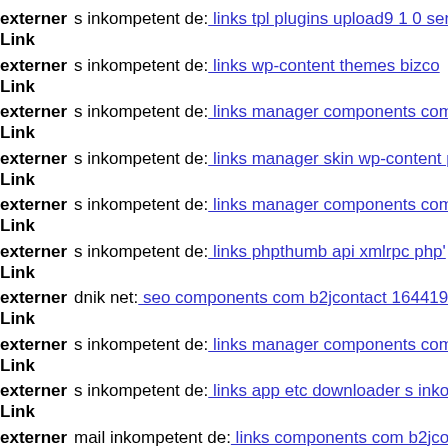externer Link s inkompetent de: links tpl plugins upload9 1 0 server php
externer Link s inkompetent de: links wp-content themes bizco
externer Link s inkompetent de: links manager components com foxconta
externer Link s inkompetent de: links manager skin wp-content plugins w
externer Link s inkompetent de: links manager components com foxconta
externer Link s inkompetent de: links phpthumb api xmlrpc php'
externer Link dnik net: seo components com b2jcontact 1644192415
externer Link s inkompetent de: links manager components com jinc class
externer Link s inkompetent de: links app etc downloader s inkompetent d
externer Link mail inkompetent de: links components com b2jcontacte
externer Link s inkompetent de: links phpthumb plugins phpthumb compo